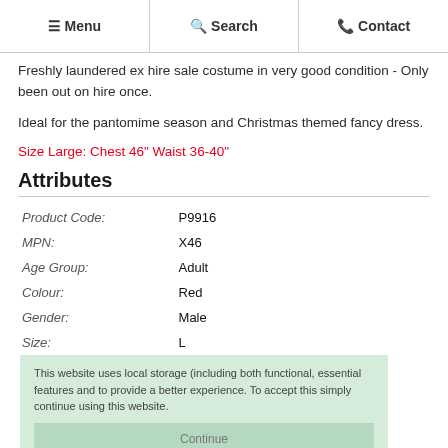☰ Menu   🔍 Search   📞 Contact
Freshly laundered ex hire sale costume in very good condition - Only been out on hire once.
Ideal for the pantomime season and Christmas themed fancy dress.
Size Large: Chest 46" Waist 36-40"
Attributes
| Attribute | Value |
| --- | --- |
| Product Code: | P9916 |
| MPN: | X46 |
| Age Group: | Adult |
| Colour: | Red |
| Gender: | Male |
| Size: | L |
This website uses local storage (including both functional, essential features and to provide a better experience. To accept this simply continue using this website.